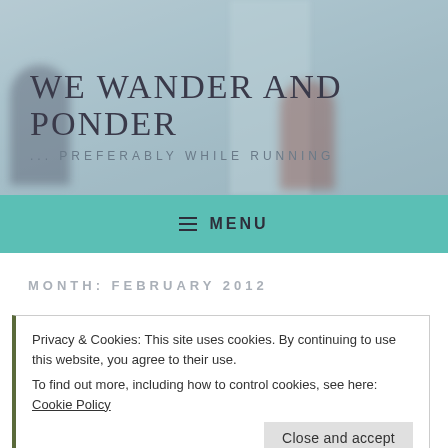[Figure (photo): Blurred background photo of people walking near large stone columns or building facade, used as blog header image]
WE WANDER AND PONDER
... PREFERABLY WHILE RUNNING
≡ MENU
MONTH: FEBRUARY 2012
Privacy & Cookies: This site uses cookies. By continuing to use this website, you agree to their use.
To find out more, including how to control cookies, see here: Cookie Policy
Close and accept